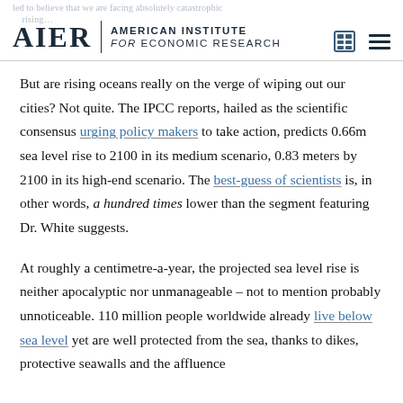AIER | AMERICAN INSTITUTE for ECONOMIC RESEARCH
But are rising oceans really on the verge of wiping out our cities? Not quite. The IPCC reports, hailed as the scientific consensus urging policy makers to take action, predicts 0.66m sea level rise to 2100 in its medium scenario, 0.83 meters by 2100 in its high-end scenario. The best-guess of scientists is, in other words, a hundred times lower than the segment featuring Dr. White suggests.
At roughly a centimetre-a-year, the projected sea level rise is neither apocalyptic nor unmanageable – not to mention probably unnoticeable. 110 million people worldwide already live below sea level yet are well protected from the sea, thanks to dikes, protective seawalls and the affluence